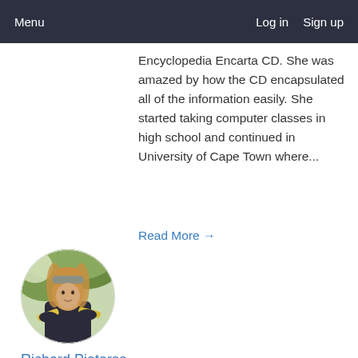Menu   Log in   Sign up
Encyclopedia Encarta CD. She was amazed by how the CD encapsulated all of the information easily. She started taking computer classes in high school and continued in University of Cape Town where...
Read More →
[Figure (photo): Circular profile photo of a person with long blonde hair wearing a dark jacket, holding yellow items, outdoors with trees in background]
Richard Pieterse
Richard Pieterse is a bionic space walrus from the year 2013. He